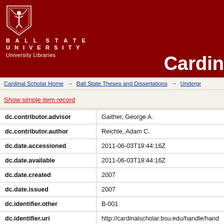[Figure (logo): Ball State University shield logo with white figure on dark red background]
BALL STATE UNIVERSITY University Libraries Cardin
Cardinal Scholar Home → Ball State Theses and Dissertations → Undergr
Show simple item record
| Field | Value |
| --- | --- |
| dc.contributor.advisor | Gaither, George A. |
| dc.contributor.author | Reichle, Adam C. |
| dc.date.accessioned | 2011-06-03T19:44:16Z |
| dc.date.available | 2011-06-03T19:44:16Z |
| dc.date.created | 2007 |
| dc.date.issued | 2007 |
| dc.identifier.other | B-001 |
| dc.identifier.uri | http://cardinalscholar.bsu.edu/handle/hand |